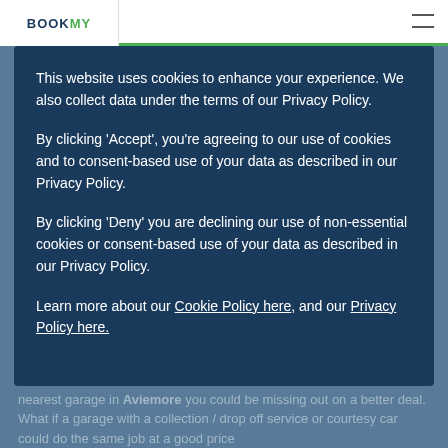BOOKMV
This website uses cookies to enhance your experience. We also collect data under the terms of our Privacy Policy.
By clicking 'Accept', you're agreeing to our use of cookies and to consent-based use of your data as described in our Privacy Policy.
By clicking 'Deny' you are declining our use of non-essential cookies or consent-based use of your data as described in our Privacy Policy.
Learn more about our Cookie Policy here, and our Privacy Policy here.
nearest garage in Aviemore you could be missing out on a better deal. What if a garage with a collection / drop off service or courtesy car could do the same job at a good price